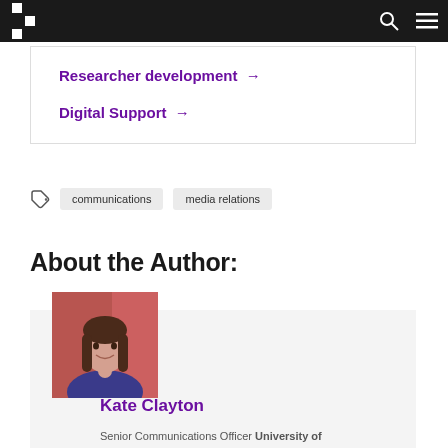University navigation header with logo, search and menu icons
Researcher development →
Digital Support →
communications  media relations
About the Author:
[Figure (photo): Headshot of Kate Clayton, a woman with long brown hair, smiling, against a blurred red background]
Kate Clayton
Senior Communications Officer University of